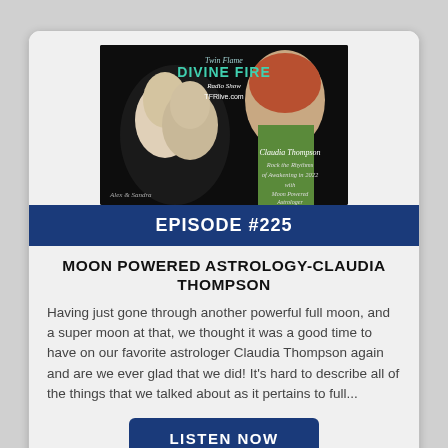[Figure (illustration): Twin Flame Divine Fire Radio Show podcast cover image featuring two people and Claudia Thompson. Text reads: Twin Flame DIVINE FIRE Radio Show TFRlive.com, Claudia Thompson, Rock the Rhythms of Awakening in 2022 with Moon Powered Astrologer]
EPISODE #225
MOON POWERED ASTROLOGY-CLAUDIA THOMPSON
Having just gone through another powerful full moon, and a super moon at that, we thought it was a good time to have on our favorite astrologer Claudia Thompson again and are we ever glad that we did! It's hard to describe all of the things that we talked about as it pertains to full...
LISTEN NOW
AIRED: 07-16-2022